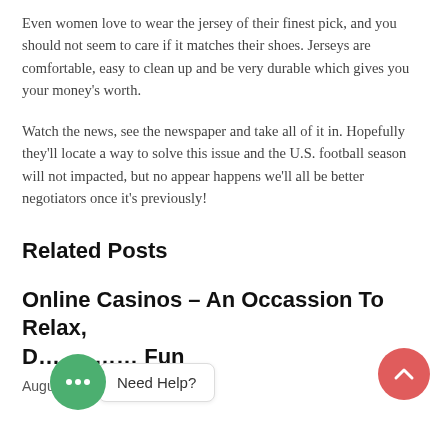Even women love to wear the jersey of their finest pick, and you should not seem to care if it matches their shoes. Jerseys are comfortable, easy to clean up and be very durable which gives you your money's worth.
Watch the news, see the newspaper and take all of it in. Hopefully they'll locate a way to solve this issue and the U.S. football season will not impacted, but no appear happens we'll all be better negotiators once it's previously!
Related Posts
Online Casinos – An Occassion To Relax, D..., ... Fun
August 24, 2022